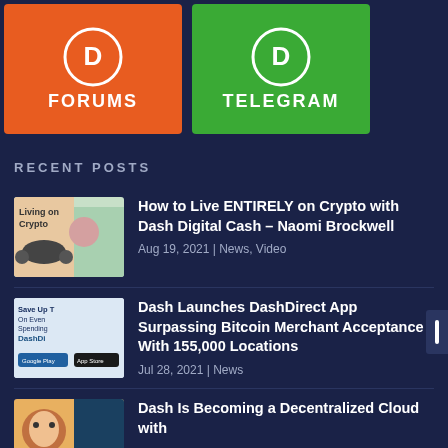[Figure (logo): Dash Forums orange button with Dash logo and text FORUMS]
[Figure (logo): Dash Telegram green button with Dash logo and text TELEGRAM]
RECENT POSTS
[Figure (photo): Thumbnail image showing Living on Crypto text with a woman and car]
How to Live ENTIRELY on Crypto with Dash Digital Cash – Naomi Brockwell
Aug 19, 2021 | News, Video
[Figure (screenshot): Thumbnail image of DashDirect app showing Save Up To On Even Spending DashDi]
Dash Launches DashDirect App Surpassing Bitcoin Merchant Acceptance With 155,000 Locations
Jul 28, 2021 | News
[Figure (photo): Thumbnail image showing a person for Dash Decentralized Cloud article]
Dash Is Becoming a Decentralized Cloud with